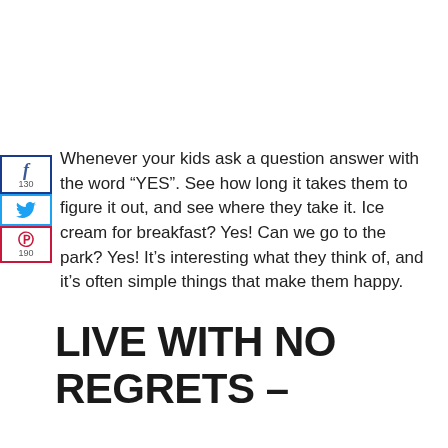Whenever your kids ask a question answer with the word “YES”. See how long it takes them to figure it out, and see where they take it. Ice cream for breakfast? Yes! Can we go to the park? Yes! It’s interesting what they think of, and it’s often simple things that make them happy.
[Figure (infographic): Social media sharing sidebar with Facebook (f icon, 130 count), Twitter (bird icon), and Pinterest (P icon, 190 count) buttons stacked vertically on the left edge]
LIVE WITH NO REGRETS –